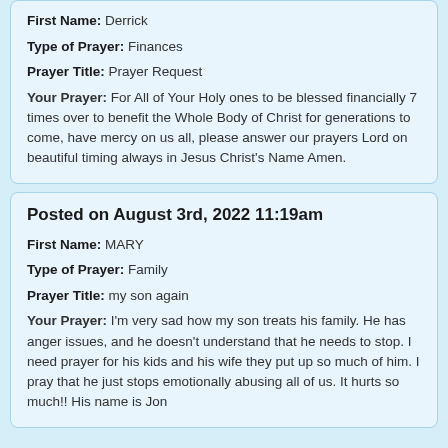First Name: Derrick
Type of Prayer: Finances
Prayer Title: Prayer Request
Your Prayer: For All of Your Holy ones to be blessed financially 7 times over to benefit the Whole Body of Christ for generations to come, have mercy on us all, please answer our prayers Lord on beautiful timing always in Jesus Christ's Name Amen.
Posted on August 3rd, 2022 11:19am
First Name: MARY
Type of Prayer: Family
Prayer Title: my son again
Your Prayer: I'm very sad how my son treats his family. He has anger issues, and he doesn't understand that he needs to stop. I need prayer for his kids and his wife they put up so much of him. I pray that he just stops emotionally abusing all of us. It hurts so much!! His name is Jon